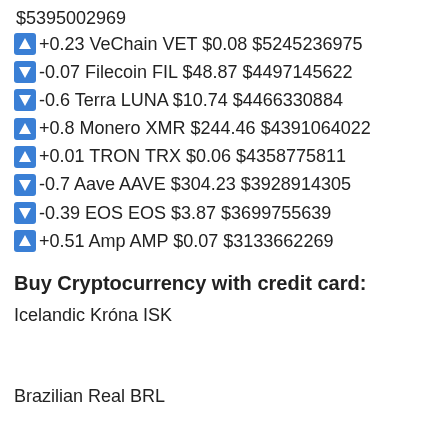$5395002969
+0.23 VeChain VET $0.08 $5245236975
-0.07 Filecoin FIL $48.87 $4497145622
-0.6 Terra LUNA $10.74 $4466330884
+0.8 Monero XMR $244.46 $4391064022
+0.01 TRON TRX $0.06 $4358775811
-0.7 Aave AAVE $304.23 $3928914305
-0.39 EOS EOS $3.87 $3699755639
+0.51 Amp AMP $0.07 $3133662269
Buy Cryptocurrency with credit card:
Icelandic Króna ISK
Brazilian Real BRL